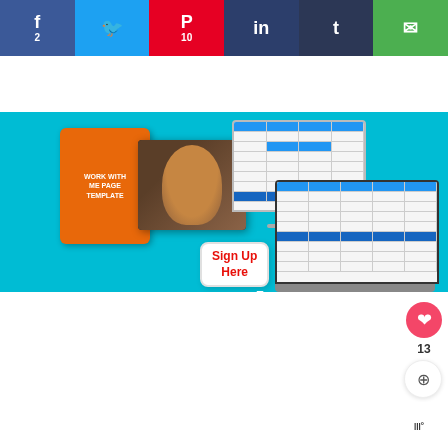[Figure (screenshot): Social media share bar with Facebook (f, 2), Twitter (bird icon), Pinterest (P, 10), LinkedIn (in), Tumblr (t), and Email (envelope) buttons in colored blocks]
[Figure (screenshot): Hero banner image on teal/cyan background showing tablet with orange 'Work With Me Page Template' cover, a video call frame with a person, an iMac showing a spreadsheet, and a laptop showing a spreadsheet. A white 'Sign Up Here' speech bubble with red arrow cursor overlay.]
[Figure (screenshot): White content area with a pink/red heart like button showing count 13, and a share icon button on the right side]
[Figure (screenshot): Dark advertisement banner at bottom reading 'GIVE ME THOSE PUPPY DOG EYES' with dog image on left, close X button, and white logo on right]